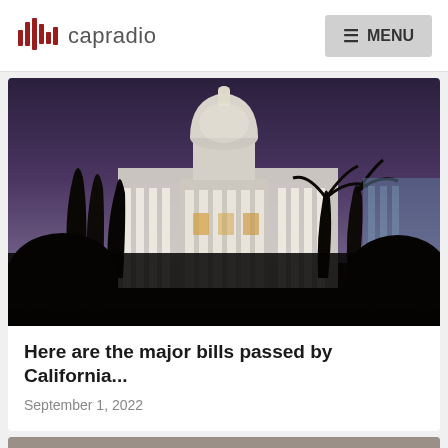capradio | MENU
[Figure (photo): Nighttime photograph of the California State Capitol building with palm trees silhouetted against a purple-blue dusk sky. The white neoclassical dome is illuminated.]
Here are the major bills passed by California...
September 1, 2022